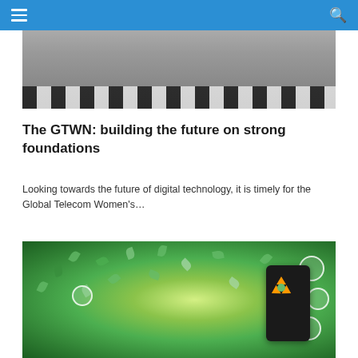[Figure (photo): A group of people standing in a formal setting on a black and white checkered floor, with a wooden podium or box visible in the background.]
The GTWN: building the future on strong foundations
Looking towards the future of digital technology, it is timely for the Global Telecom Women's…
[Figure (photo): A green nature-themed technology background with floating leaves and a hand holding a smartphone displaying a recycling/sustainability icon, surrounded by circular icons representing eco-friendly concepts like solar panels and wind energy.]